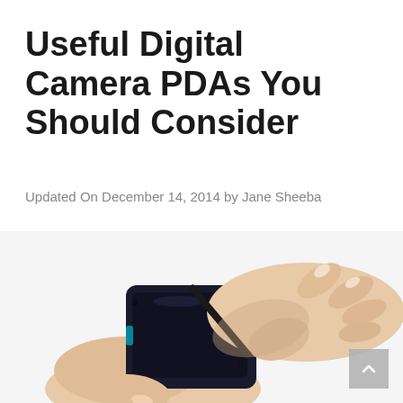Useful Digital Camera PDAs You Should Consider
Updated On December 14, 2014 by Jane Sheeba
[Figure (photo): Hands holding a dark smartphone/PDA device while using a stylus pen to write or tap on the screen, photographed on a white background]